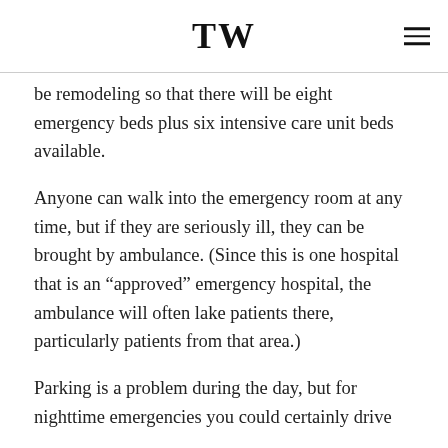TW
be remodeling so that there will be eight emergency beds plus six intensive care unit beds available.
Anyone can walk into the emergency room at any time, but if they are seriously ill, they can be brought by ambulance. (Since this is one hospital that is an “approved” emergency hospital, the ambulance will often lake patients there, particularly patients from that area.)
Parking is a problem during the day, but for nighttime emergencies you could certainly drive